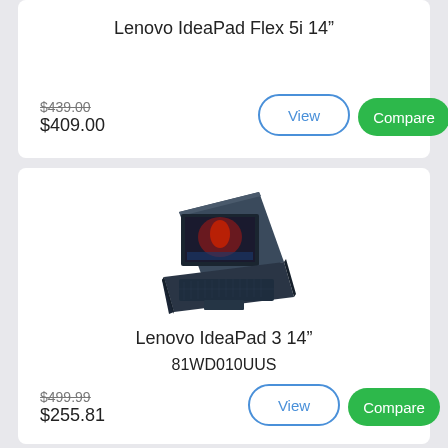Lenovo IdeaPad Flex 5i 14”
$439.00 (strikethrough) $409.00
[Figure (screenshot): Lenovo laptop product listing card with View and Compare buttons]
[Figure (photo): Lenovo IdeaPad 3 14 inch laptop shown from front and back angles in dark blue color]
Lenovo IdeaPad 3 14”
81WD010UUS
$499.99 (strikethrough) $255.81